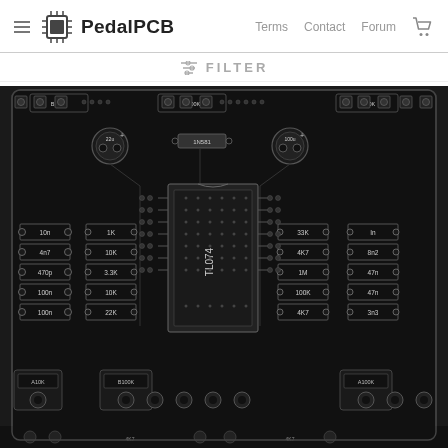PedalPCB — Terms  Contact  Forum
FILTER
[Figure (circuit-diagram): PedalPCB printed circuit board layout showing a TL074 op-amp based pedal PCB with components including resistors (1K, 10K, 33K, 22K, 4K7, 100K, 1M), capacitors (10n, 4n7, 470p, 100n, 8n2, 47n, 3n3), a 1N581 diode, potentiometer pads labeled A10K, B100K, A500K, A100K, B100K, B100K, and input/output connections. The board is shown in black with white silkscreen markings.]